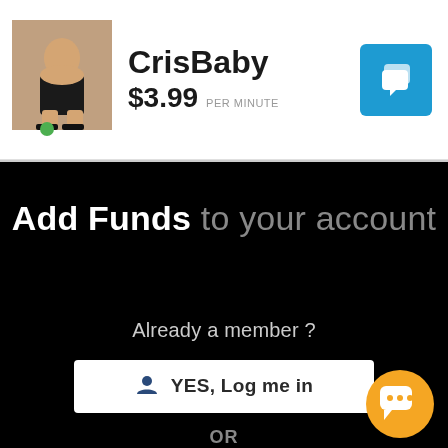[Figure (screenshot): User avatar thumbnail showing a person in black swimwear/bikini pose, with a green online indicator dot below]
CrisBaby
$3.99 PER MINUTE
[Figure (illustration): Blue square icon button with white chat/message bubbles icon in top right corner of header]
Add Funds to your account
Already a member ?
YES, Log me in
OR
[Figure (illustration): Orange circular chat bubble floating button in bottom-right corner with three white dots]